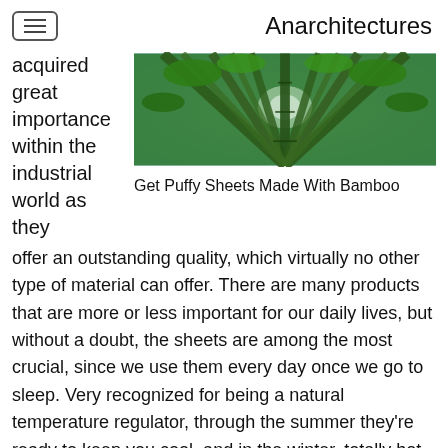Anarchitectures
acquired great importance within the industrial world as they
[Figure (photo): Looking up through tall bamboo stalks toward the sky, green bamboo forest canopy viewed from below]
Get Puffy Sheets Made With Bamboo
offer an outstanding quality, which virtually no other type of material can offer. There are many products that are more or less important for our daily lives, but without a doubt, the sheets are among the most crucial, since we use them every day once we go to sleep. Very recognized for being a natural temperature regulator, through the summer they're ready to keep you cool, and in the winter, totally hot. Perfect for those areas that usually have strong